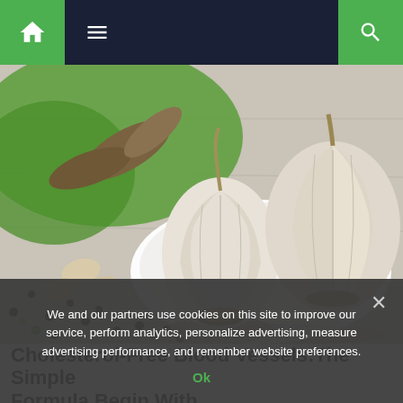Navigation bar with home, menu, and search icons
[Figure (photo): Close-up photo of whole garlic bulbs on a white plate, with garlic cloves, dried bay leaves on a green cloth, and mixed peppercorns scattered on a white wooden surface]
Cholesterol-Free Blood Vessels:The Simple Formula Begin With...
We and our partners use cookies on this site to improve our service, perform analytics, personalize advertising, measure advertising performance, and remember website preferences.
Ok